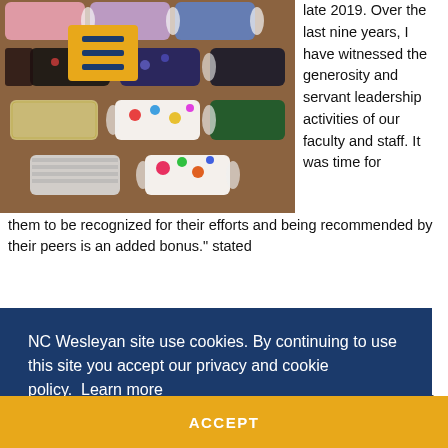[Figure (photo): Photo of colorful handmade fabric face masks laid out on a wooden table, various patterns including floral, geometric, and solid colors]
late 2019. Over the last nine years, I have witnessed the generosity and servant leadership activities of our faculty and staff. It was time for them to be recognized for their efforts and being recommended by their peers is an added bonus." stated
NC Wesleyan site use cookies. By continuing to use this site you accept our privacy and cookie policy. Learn more
ACCEPT